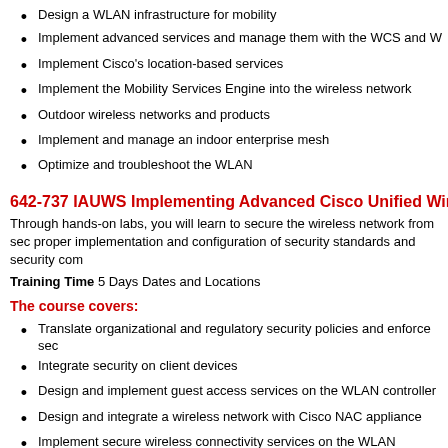Design a WLAN infrastructure for mobility
Implement advanced services and manage them with the WCS and W
Implement Cisco's location-based services
Implement the Mobility Services Engine into the wireless network
Outdoor wireless networks and products
Implement and manage an indoor enterprise mesh
Optimize and troubleshoot the WLAN
642-737 IAUWS Implementing Advanced Cisco Unified Wire
Through hands-on labs, you will learn to secure the wireless network from sec proper implementation and configuration of security standards and security com
Training Time 5 Days Dates and Locations
The course covers:
Translate organizational and regulatory security policies and enforce sec
Integrate security on client devices
Design and implement guest access services on the WLAN controller
Design and integrate a wireless network with Cisco NAC appliance
Implement secure wireless connectivity services on the WLAN controlle
Use the internal security features on the WLAN controller and integra threats to the WLAN